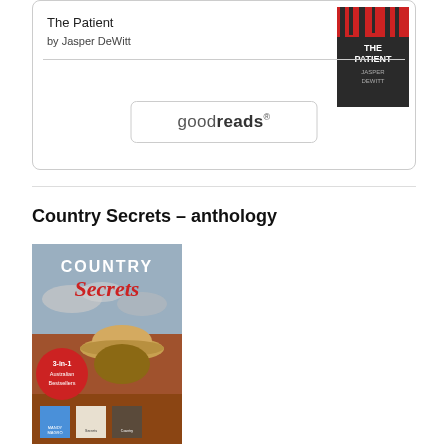The Patient
by Jasper DeWitt
[Figure (logo): goodreads button/logo with rounded rectangle border]
Country Secrets – anthology
[Figure (photo): Book cover of Country Secrets anthology showing a woman in a cowboy hat in Australian outback landscape, with text '3-in-1 Australian Bestsellers' and author names Mandy Magro and others at the bottom]